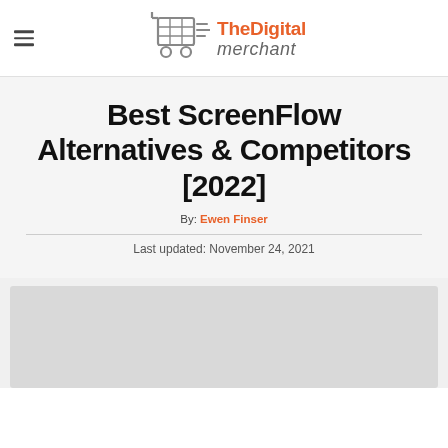TheDigital merchant
Best ScreenFlow Alternatives & Competitors [2022]
By: Ewen Finser
Last updated: November 24, 2021
[Figure (other): Gray placeholder/advertisement image area at bottom of page]